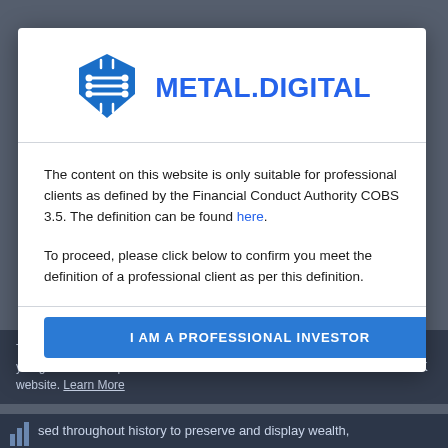[Figure (logo): Metal.Digital logo: blue circuit-board shield icon on the left, and the text METAL.DIGITAL in bold blue to the right]
The content on this website is only suitable for professional clients as defined by the Financial Conduct Authority COBS 3.5. The definition can be found here.
To proceed, please click below to confirm you meet the definition of a professional client as per this definition.
I AM A PROFESSIONAL INVESTOR
This website uses cookies to ensure you get the best experience on our website. Learn More
sed throughout history to preserve and display wealth,